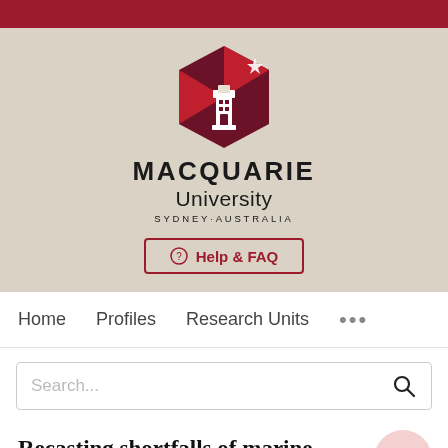[Figure (logo): Macquarie University logo with lighthouse and geometric red/dark red shield shape above university name text]
MACQUARIE University SYDNEY·AUSTRALIA
⊕ Help & FAQ
Home   Profiles   Research Units   ...
Search...
Recasting shortfalls of marine protected areas as opportunities